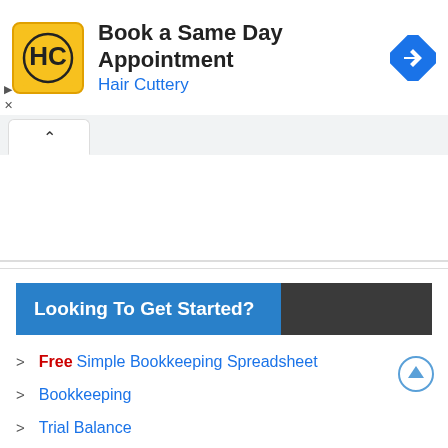[Figure (screenshot): Advertisement banner for Hair Cuttery with logo, text 'Book a Same Day Appointment', subtitle 'Hair Cuttery', and a blue navigation diamond icon on the right.]
Looking To Get Started?
Free Simple Bookkeeping Spreadsheet
Bookkeeping
Trial Balance
Income Statement
Balance Sheet
Cash Flow Statement
Statement of Retained Earnings